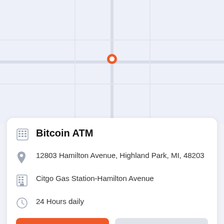[Figure (other): Map background area showing a light blue-gray map view]
Bitcoin ATM
12803 Hamilton Avenue, Highland Park, MI, 48203
Citgo Gas Station-Hamilton Avenue
24 Hours daily